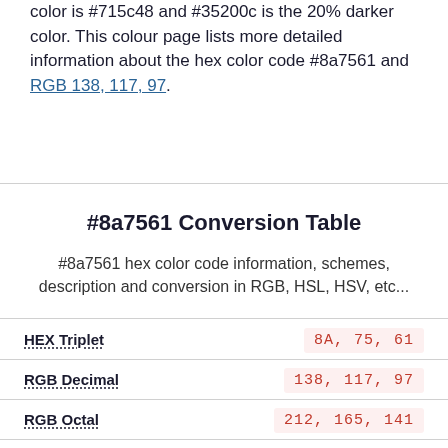color is #715c48 and #35200c is the 20% darker color. This colour page lists more detailed information about the hex color code #8a7561 and RGB 138, 117, 97.
#8a7561 Conversion Table
#8a7561 hex color code information, schemes, description and conversion in RGB, HSL, HSV, etc...
| Property | Value |
| --- | --- |
| HEX Triplet | 8A, 75, 61 |
| RGB Decimal | 138, 117, 97 |
| RGB Octal | 212, 165, 141 |